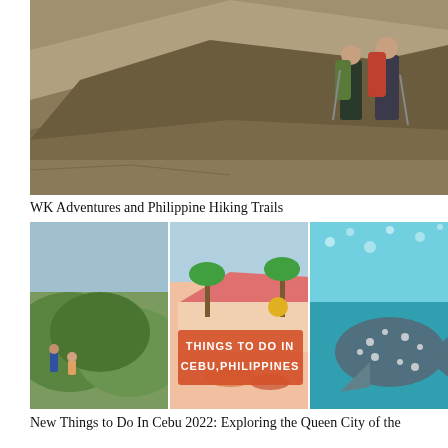[Figure (photo): Two hikers with backpacks and trekking poles walking on a mountain trail with rocky slopes and dry grass in the Philippines.]
WK Adventures and Philippine Hiking Trails
[Figure (photo): A collage of three travel photos: left panel shows people sitting on rocks overlooking green rolling hills; center panel shows a colorful beach resort with pink roof, palm trees, and an orange overlay banner reading 'THINGS TO DO IN CEBU, PHILIPPINES'; right panel shows an underwater view of a whale shark in turquoise water.]
New Things to Do In Cebu 2022: Exploring the Queen City of the